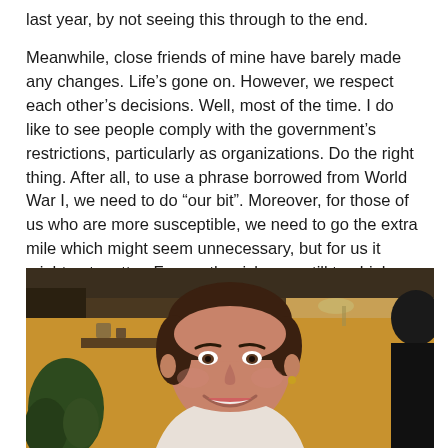last year, by not seeing this through to the end.
Meanwhile, close friends of mine have barely made any changes. Life's gone on. However, we respect each other's decisions. Well, most of the time. I do like to see people comply with the government's restrictions, particularly as organizations. Do the right thing. After all, to use a phrase borrowed from World War I, we need to do “our bit”. Moreover, for those of us who are more susceptible, we need to go the extra mile which might seem unnecessary, but for us it might not matter. For us, the risks are still too high.
[Figure (photo): A smiling woman with brown hair pulled back, photographed in what appears to be a warm indoor setting with a yellowish background, plants, and shelving visible behind her. Another person is partially visible on the right edge.]